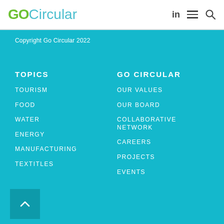GOCircular
Copyright Go Circular 2022
TOPICS
TOURISM
FOOD
WATER
ENERGY
MANUFACTURING
TEXTITLES
GO CIRCULAR
OUR VALUES
OUR BOARD
COLLABORATIVE NETWORK
CAREERS
PROJECTS
EVENTS